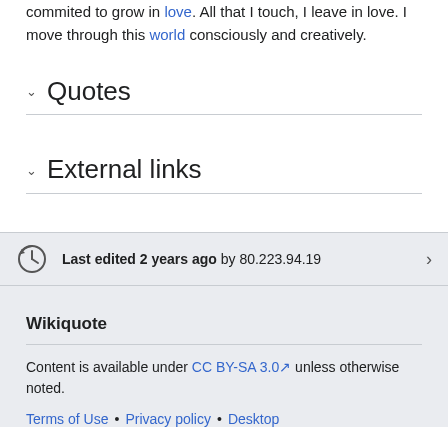commited to grow in love. All that I touch, I leave in love. I move through this world consciously and creatively.
Quotes
External links
Last edited 2 years ago by 80.223.94.19
Wikiquote
Content is available under CC BY-SA 3.0 unless otherwise noted.
Terms of Use • Privacy policy • Desktop